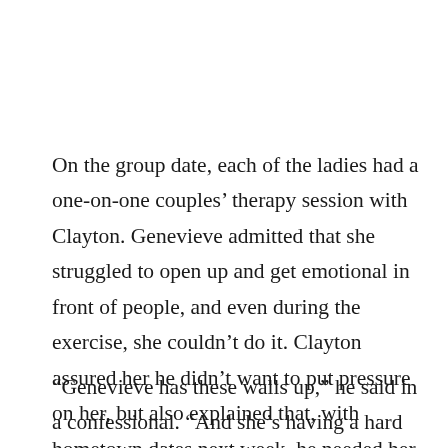On the group date, each of the ladies had a one-on-one couples’ therapy session with Clayton. Genevieve admitted that she struggled to open up and get emotional in front of people, and even during the exercise, she couldn’t do it. Clayton assured her he didn’t want to put pressure on her, but also explained that, with hometown dates next week, he needed her to start being more vulnerable.
“Genevieve has these walls up,” he said in a confessional. “And she’s having a hard time letting them down. But I need something that’s beyond that. It’s the only way I can get to know her.”